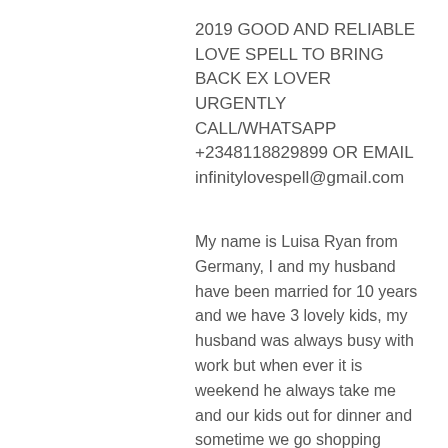2019 GOOD AND RELIABLE LOVE SPELL TO BRING BACK EX LOVER URGENTLY CALL/WHATSAPP +2348118829899 OR EMAIL infinitylovespell@gmail.com
My name is Luisa Ryan from Germany, I and my husband have been married for 10 years and we have 3 lovely kids, my husband was always busy with work but when ever it is weekend he always take me and our kids out for dinner and sometime we go shopping together because the kids like to buy things, our family was happy until my husband went on a business trip,